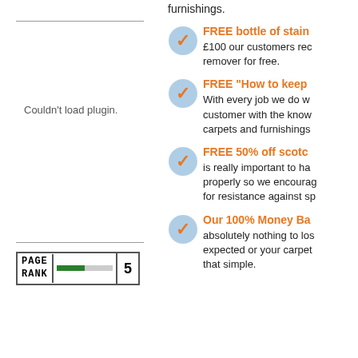[Figure (other): Left sidebar with horizontal rule, plugin error message, second horizontal rule, and a Page Rank badge showing rank 5 with a green bar]
furnishings.
FREE bottle of stain... £100 our customers rec... remover for free.
FREE "How to keep... With every job we do w... customer with the know... carpets and furnishings...
FREE 50% off scotc... is really important to ha... properly so we encourag... for resistance against sp...
Our 100% Money Ba... absolutely nothing to los... expected or your carpet... that simple.